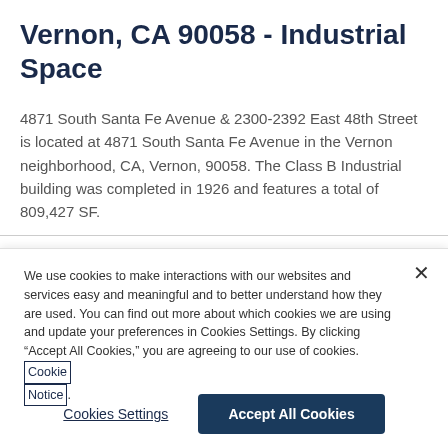Vernon, CA 90058 - Industrial Space
4871 South Santa Fe Avenue & 2300-2392 East 48th Street is located at 4871 South Santa Fe Avenue in the Vernon neighborhood, CA, Vernon, 90058. The Class B Industrial building was completed in 1926 and features a total of 809,427 SF.
We use cookies to make interactions with our websites and services easy and meaningful and to better understand how they are used. You can find out more about which cookies we are using and update your preferences in Cookies Settings. By clicking “Accept All Cookies,” you are agreeing to our use of cookies. Cookie Notice.
Cookies Settings | Accept All Cookies